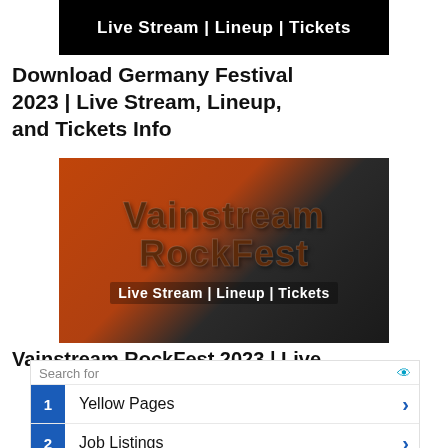[Figure (illustration): Black banner with white bold text reading 'Live Stream | Lineup | Tickets']
Download Germany Festival 2023 | Live Stream, Lineup, and Tickets Info
[Figure (illustration): Vainstream RockFest promotional image with orange and dark background, large text 'Vainstream RockFest' and subtitle 'Live Stream | Lineup | Tickets']
Vainstream RockFest 2023 | Live
Search for
1  Yellow Pages
2  Job Listings